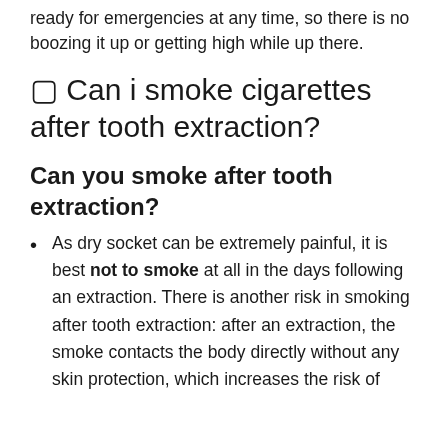ready for emergencies at any time, so there is no boozing it up or getting high while up there.
⬜ Can i smoke cigarettes after tooth extraction?
Can you smoke after tooth extraction?
As dry socket can be extremely painful, it is best not to smoke at all in the days following an extraction. There is another risk in smoking after tooth extraction: after an extraction, the smoke contacts the body directly without any skin protection, which increases the risk of